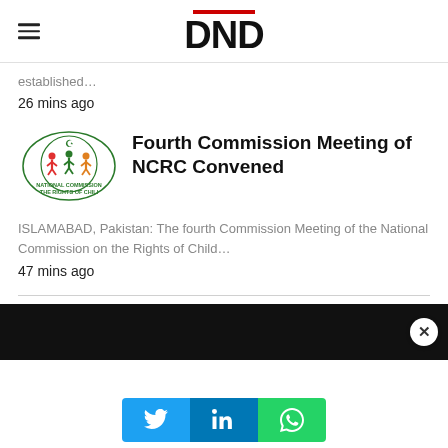DND
established…
26 mins ago
[Figure (logo): National Commission on the Rights of Child (NCRC) logo with green text and children icons]
Fourth Commission Meeting of NCRC Convened
ISLAMABAD, Pakistan: The fourth Commission Meeting of the National Commission on the Rights of Child…
47 mins ago